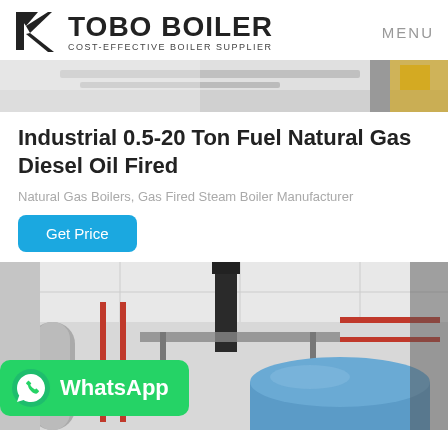TOBO BOILER — COST-EFFECTIVE BOILER SUPPLIER | MENU
[Figure (photo): Partial banner image showing industrial boiler equipment in grey and yellow tones]
Industrial 0.5-20 Ton Fuel Natural Gas Diesel Oil Fired
Natural Gas Boilers, Gas Fired Steam Boiler Manufacturer
Get Price
[Figure (photo): Industrial boiler room interior with blue cylindrical boiler, red pipes, black exhaust stack, and metal structures. WhatsApp badge overlay in bottom-left.]